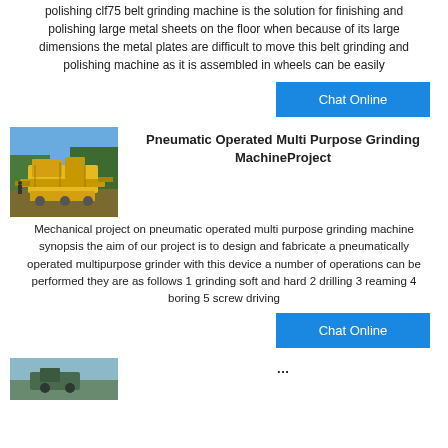polishing clf75 belt grinding machine is the solution for finishing and polishing large metal sheets on the floor when because of its large dimensions the metal plates are difficult to move this belt grinding and polishing machine as it is assembled in wheels can be easily
[Figure (other): Blue Chat Online button]
[Figure (photo): Yellow industrial crushing/grinding machine equipment outdoors]
Pneumatic Operated Multi Purpose Grinding MachineProject
Mechanical project on pneumatic operated multi purpose grinding machine synopsis the aim of our project is to design and fabricate a pneumatically operated multipurpose grinder with this device a number of operations can be performed they are as follows 1 grinding soft and hard 2 drilling 3 reaming 4 boring 5 screw driving
[Figure (other): Blue Chat Online button]
[Figure (photo): Partial image at bottom of page - industrial machine]